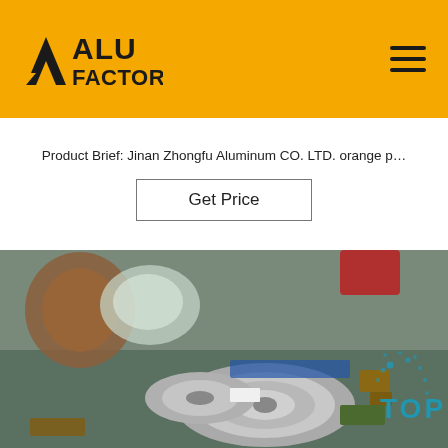[Figure (logo): ALU FACTORY logo with yellow/gold background, black triangular A icon and bold text 'ALU FACTORY']
Product Brief: Jinan Zhongfu Aluminum CO. LTD. orange p…
Get Price
[Figure (photo): Industrial aluminum coils/rolls stacked in a factory or warehouse setting, with wooden support blocks. A 'TOP' watermark appears in the lower right corner.]